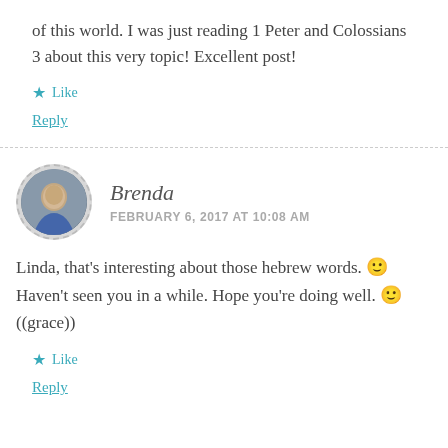of this world. I was just reading 1 Peter and Colossians 3 about this very topic! Excellent post!
★ Like
Reply
Brenda
FEBRUARY 6, 2017 AT 10:08 AM
Linda, that's interesting about those hebrew words. 🙂 Haven't seen you in a while. Hope you're doing well. 🙂 ((grace))
★ Like
Reply